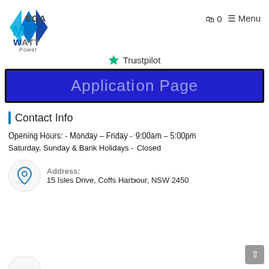[Figure (logo): Megawatt Power logo: blue diamond/M shape with 'MEGA WATT Power' text]
🛒 0  ≡ Menu
[Figure (logo): Trustpilot logo with green star and 'Trustpilot' text]
Application Page
Contact Info
Opening Hours: - Monday – Friday - 9:00am – 5:00pm Saturday, Sunday & Bank Holidays - Closed
[Figure (illustration): Location pin icon in a circle]
Address: 15 Isles Drive, Coffs Harbour, NSW 2450